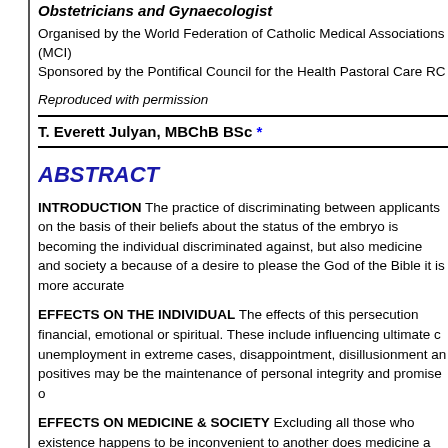Obstetricians and Gynaecologist
Organised by the World Federation of Catholic Medical Associations (MCI)
Sponsored by the Pontifical Council for the Health Pastoral Care RC
Reproduced with permission
T. Everett Julyan, MBChB BSc *
ABSTRACT
INTRODUCTION The practice of discriminating between applicants on the basis of their beliefs about the status of the embryo is becoming the individual discriminated against, but also medicine and society a because of a desire to please the God of the Bible it is more accurate
EFFECTS ON THE INDIVIDUAL The effects of this persecution financial, emotional or spiritual. These include influencing ultimate c unemployment in extreme cases, disappointment, disillusionment an positives may be the maintenance of personal integrity and promise o
EFFECTS ON MEDICINE & SOCIETY Excluding all those who existence happens to be inconvenient to another does medicine a dis which calls for self-sacrifice on the part of the doctor in order to pre